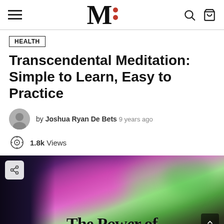M: [logo] — navigation header with hamburger menu, search and cart icons
HEALTH
Transcendental Meditation: Simple to Learn, Easy to Practice
by Joshua Ryan De Bets  9 years ago
1.8k Views
[Figure (photo): Featured image for article showing a colorful psychedelic background with a Buddha statue silhouette on the left and text 'The Power of' at the bottom]